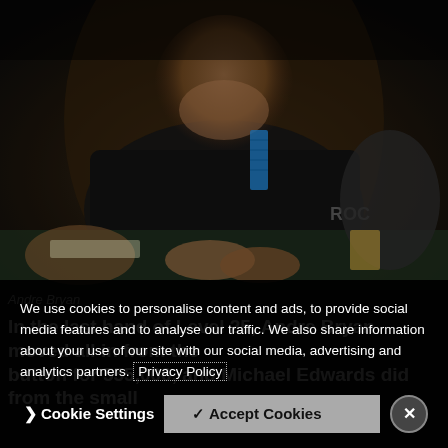[Figure (photo): A man (Andre Bryan) smiling at a poker table, wearing a black hoodie with 'ROCK' visible, hands resting on table with poker chips in the background]
Andre Bryan
In the last hand of Level 25, Andre Bryan moved all in from the button for 555,000, and Michael Edwards did from the small
We use cookies to personalise content and ads, to provide social media features and to analyse our traffic. We also share information about your use of our site with our social media, advertising and analytics partners. Privacy Policy
❯ Cookie Settings
✓ Accept Cookies